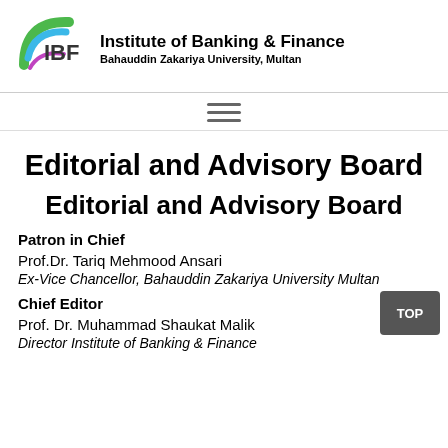[Figure (logo): IBF logo with green and blue swoosh design]
Institute of Banking & Finance
Bahauddin Zakariya University, Multan
Editorial and Advisory Board
Editorial and Advisory Board
Patron in Chief
Prof.Dr. Tariq Mehmood Ansari
Ex-Vice Chancellor, Bahauddin Zakariya University Multan
Chief Editor
Prof. Dr. Muhammad Shaukat Malik
Director Institute of Banking & Finance